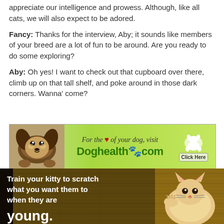appreciate our intelligence and prowess. Although, like all cats, we will also expect to be adored.
Fancy: Thanks for the interview, Aby; it sounds like members of your breed are a lot of fun to be around. Are you ready to do some exploring?
Aby: Oh yes! I want to check out that cupboard over there, climb up on that tall shelf, and poke around in those dark corners. Wanna' come?
[Figure (photo): Advertisement banner for Doghealthcom showing a dog lying on its back with text 'For the heart of your dog visit Doghealth paw com' and Click Here button with dog silhouette on green background]
[Figure (photo): Advertisement image showing a kitten scratching a sisal surface with text 'Train your kitty to scratch what you want them to when they are young.']